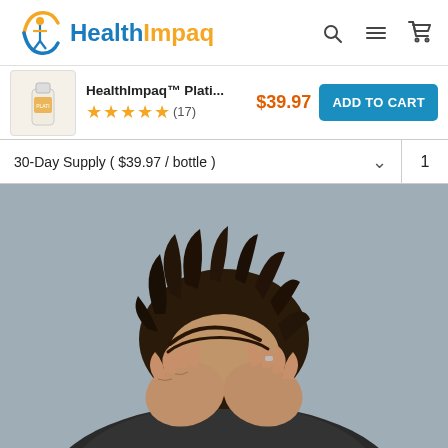[Figure (logo): HealthImpaq logo with stylized figure and brand name in blue and orange]
HealthImpaq™ Plati... $39.97 ★★★★★(17) ADD TO CART
30-Day Supply ( $39.97 / bottle )  ∨  1
[Figure (photo): Man with dark disheveled hair holding his head in his hands in distress, against a gray background]